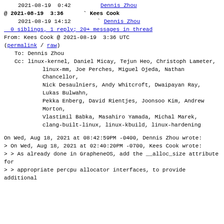2021-08-19  0:42         Dennis Zhou
@ 2021-08-19  3:36      ` Kees Cook
  2021-08-19 14:12       ` Dennis Zhou
  0 siblings, 1 reply; 20+ messages in thread
From: Kees Cook @ 2021-08-19  3:36 UTC
(permalink / raw)
   To: Dennis Zhou
   Cc: linux-kernel, Daniel Micay, Tejun Heo, Christoph Lameter,
           linux-mm, Joe Perches, Miguel Ojeda, Nathan Chancellor,
           Nick Desaulniers, Andy Whitcroft, Dwaipayan Ray, Lukas Bulwahn,
           Pekka Enberg, David Rientjes, Joonsoo Kim, Andrew Morton,
           Vlastimil Babka, Masahiro Yamada, Michal Marek,
           clang-built-linux, linux-kbuild, linux-hardening

On Wed, Aug 18, 2021 at 08:42:59PM -0400, Dennis Zhou wrote:
> On Wed, Aug 18, 2021 at 02:40:20PM -0700, Kees Cook wrote:
> > As already done in GrapheneOS, add the __alloc_size attribute for
> > appropriate percpu allocator interfaces, to provide additional